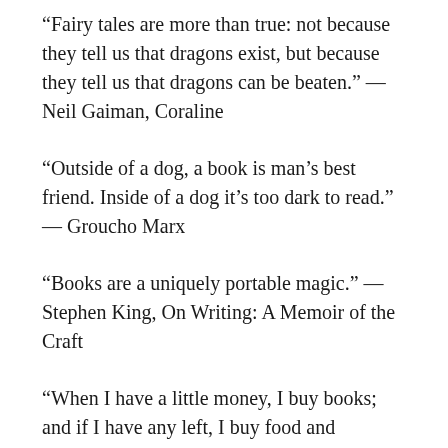“Fairy tales are more than true: not because they tell us that dragons exist, but because they tell us that dragons can be beaten.” — Neil Gaiman, Coraline
“Outside of a dog, a book is man’s best friend. Inside of a dog it’s too dark to read.” — Groucho Marx
“Books are a uniquely portable magic.” — Stephen King, On Writing: A Memoir of the Craft
“When I have a little money, I buy books; and if I have any left, I buy food and clothes.” — Erasmus
“I find television very educating. Every time